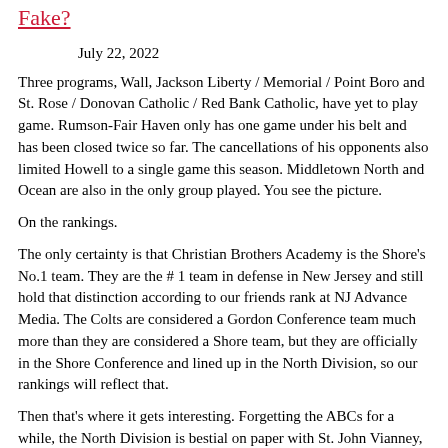Fake?
July 22, 2022
Three programs, Wall, Jackson Liberty / Memorial / Point Boro and St. Rose / Donovan Catholic / Red Bank Catholic, have yet to play game. Rumson-Fair Haven only has one game under his belt and has been closed twice so far. The cancellations of his opponents also limited Howell to a single game this season. Middletown North and Ocean are also in the only group played. You see the picture.
On the rankings.
The only certainty is that Christian Brothers Academy is the Shore's No.1 team. They are the # 1 team in defense in New Jersey and still hold that distinction according to our friends rank at NJ Advance Media. The Colts are considered a Gordon Conference team much more than they are considered a Shore team, but they are officially in the Shore Conference and lined up in the North Division, so our rankings will reflect that.
Then that's where it gets interesting. Forgetting the ABCs for a while, the North Division is bestial on paper with St. John Vianney,